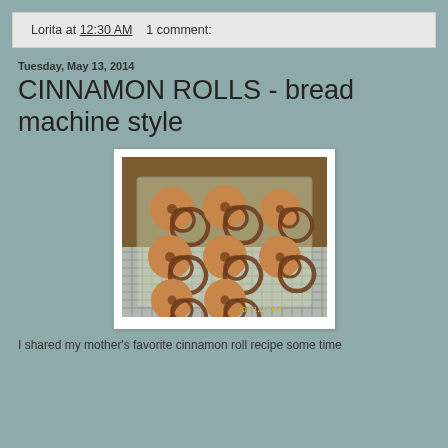Lorita at 12:30 AM    1 comment:
Tuesday, May 13, 2014
CINNAMON ROLLS - bread machine style
[Figure (photo): Photo of cinnamon rolls in a clear baking dish on a wire cooling rack, dated 04/12/2014]
I shared my mother's favorite cinnamon roll recipe some time